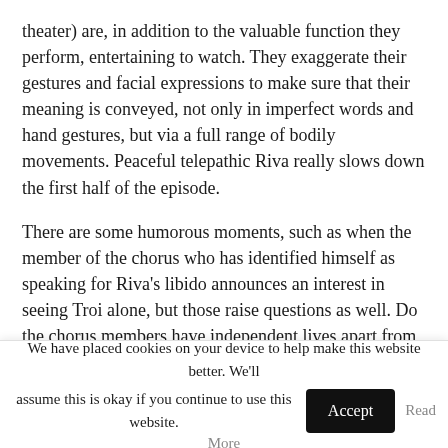theater) are, in addition to the valuable function they perform, entertaining to watch. They exaggerate their gestures and facial expressions to make sure that their meaning is conveyed, not only in imperfect words and hand gestures, but via a full range of bodily movements. Peaceful telepathic Riva really slows down the first half of the episode.
There are some humorous moments, such as when the member of the chorus who has identified himself as speaking for Riva's libido announces an interest in seeing Troi alone, but those raise questions as well. Do the chorus members have independent lives apart from serving as translators? Is this a paid profession, a labor of love, or a form of slavery expected in their culture? Do
We have placed cookies on your device to help make this website better. We'll assume this is okay if you continue to use this website. Accept Read More